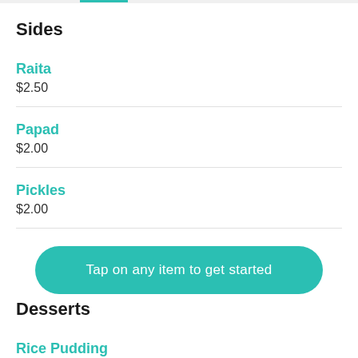Sides
Raita
$2.50
Papad
$2.00
Pickles
$2.00
[Figure (screenshot): Teal rounded button overlay with text: Tap on any item to get started]
Desserts
Rice Pudding
Kheer.